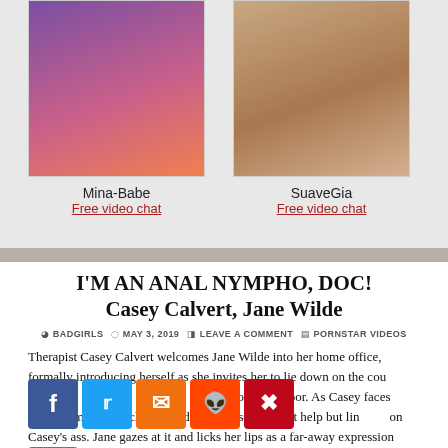[Figure (photo): Photo of model Mina-Babe with pink/purple lighting]
Mina-Babe
Free video chat
[Figure (photo): Photo of model SuaveGia lying on a bed]
SuaveGia
Free video chat
I'M AN ANAL NYMPHO, DOC! Casey Calvert, Jane Wilde
BADGIRLS  MAY 3, 2019  LEAVE A COMMENT  PORNSTAR VIDEOS
Therapist Casey Calvert welcomes Jane Wilde into her home office, formally introducing herself as she invites her to lie down on the couch as soon as Casey closes the door. As Casey faces away from her and closes the door, Jane's eyes can't help but linger on Casey's ass. Jane gazes at it and licks her lips as a far-away expression comes over her. When Casey